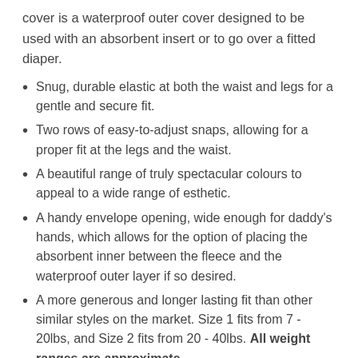cover is a waterproof outer cover designed to be used with an absorbent insert or to go over a fitted diaper.
Snug, durable elastic at both the waist and legs for a gentle and secure fit.
Two rows of easy-to-adjust snaps, allowing for a proper fit at the legs and the waist.
A beautiful range of truly spectacular colours to appeal to a wide range of esthetic.
A handy envelope opening, wide enough for daddy's hands, which allows for the option of placing the absorbent inner between the fleece and the waterproof outer layer if so desired.
A more generous and longer lasting fit than other similar styles on the market. Size 1 fits from 7 - 20lbs, and Size 2 fits from 20 - 40lbs. All weight ranges are approximate.
Size 3 is designed for older and children...